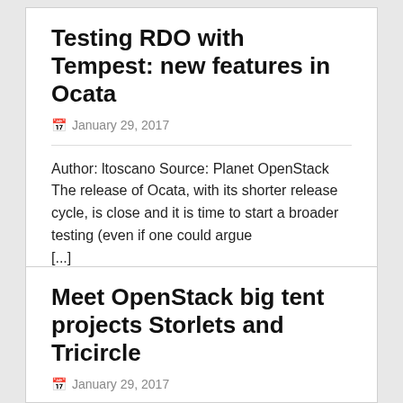Testing RDO with Tempest: new features in Ocata
January 29, 2017
Author: ltoscano Source: Planet OpenStack The release of Ocata, with its shorter release cycle, is close and it is time to start a broader testing (even if one could argue [...]
Meet OpenStack big tent projects Storlets and Tricircle
January 29, 2017